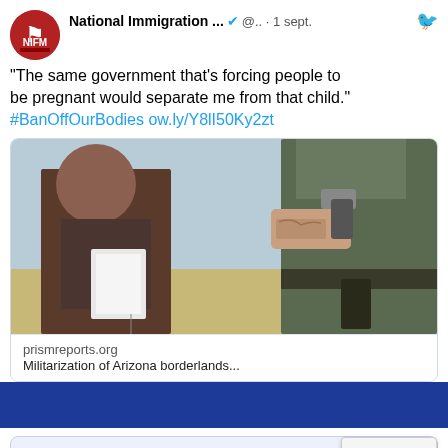[Figure (screenshot): Tweet from National Immigration account with verified badge, handle @.. dated 1 sept., with Twitter bird icon. Quote text: 'The same government that's forcing people to be pregnant would separate me from that child.' #BanOffOurBodies ow.ly/Y8lI50Ky2zt. Contains embedded link preview card with photo of border patrol officer and immigrant, domain prismreports.org, title partially visible: 'Militarization of Arizona borderlands...']
[Figure (screenshot): Newsletter Sign Up section with dark blue title text 'NEWSLETTER SIGN UP', underline, and reCAPTCHA badge in bottom right corner showing Privacy - Terms text.]